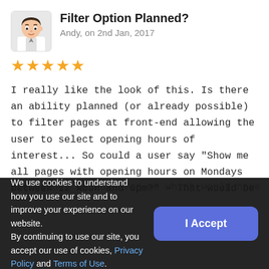Filter Option Planned?
Andy, on 2nd Jan, 2017
★★★★★
I really like the look of this. Is there an ability planned (or already possible) to filter pages at front-end allowing the user to select opening hours of interest... So could a user say "Show me all pages with opening hours on Mondays between 12 Noon and 6pm?" - That would be the golden feature for me which would have
We use cookies to understand how you use our site and to improve your experience on our website.
By continuing to use our site, you accept our use of cookies, Privacy Policy and Terms of Use.